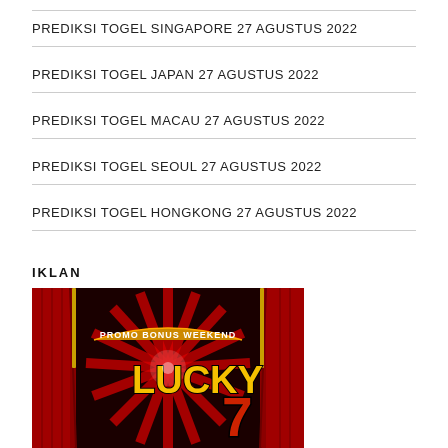PREDIKSI TOGEL SINGAPORE 27 AGUSTUS 2022
PREDIKSI TOGEL JAPAN 27 AGUSTUS 2022
PREDIKSI TOGEL MACAU 27 AGUSTUS 2022
PREDIKSI TOGEL SEOUL 27 AGUSTUS 2022
PREDIKSI TOGEL HONGKONG 27 AGUSTUS 2022
IKLAN
[Figure (illustration): Red casino/lottery promotional banner with theater curtains on sides, sunburst rays in background, text 'PROMO BONUS WEEKEND' and 'LUCKY 7' in large yellow/gold letters]